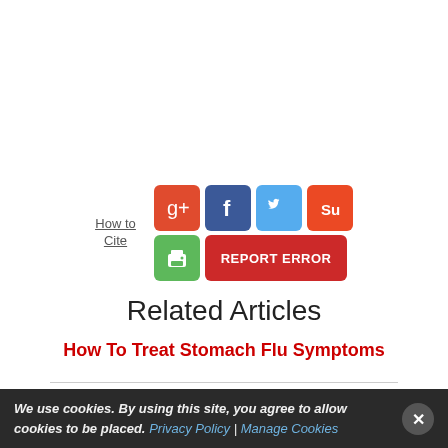[Figure (screenshot): Social sharing buttons: Google+, Facebook, Twitter, StumbleUpon icons in colored squares, a green print button, and a red REPORT ERROR button. Next to these on the left is a 'How to Cite' text link.]
Related Articles
How To Treat Stomach Flu Symptoms
We use cookies. By using this site, you agree to allow cookies to be placed. Privacy Policy | Manage Cookies